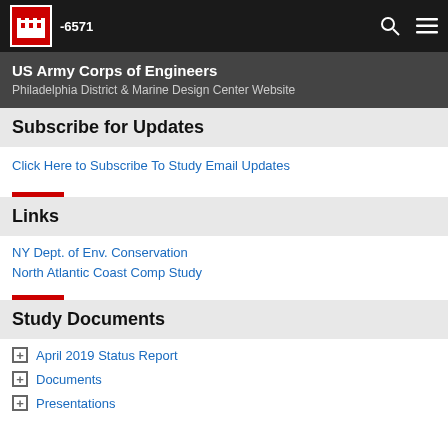US Army Corps of Engineers — Philadelphia District & Marine Design Center Website
Subscribe for Updates
Click Here to Subscribe To Study Email Updates
Links
NY Dept. of Env. Conservation
North Atlantic Coast Comp Study
Study Documents
April 2019 Status Report
Documents
Presentations